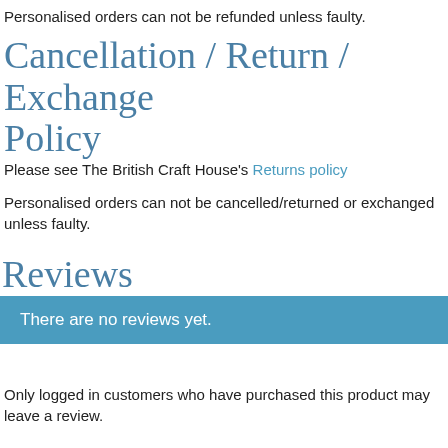Personalised orders can not be refunded unless faulty.
Cancellation / Return / Exchange Policy
Please see The British Craft House's Returns policy
Personalised orders can not be cancelled/returned or exchanged unless faulty.
Reviews
There are no reviews yet.
Only logged in customers who have purchased this product may leave a review.